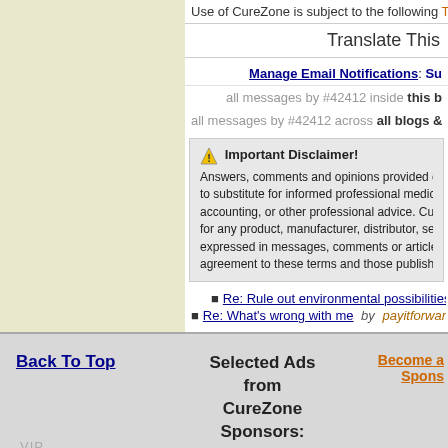Use of CureZone is subject to the following Terms c...
Translate This
Manage Email Notifications: Su...
all messages by #42412 inside this b...
all messages by #42412 across all blogs &...
⚠ Important Disclaimer!
Answers, comments and opinions provided on CureZone... to substitute for informed professional medical, psychiat... accounting, or other professional advice. CureZone does... for any product, manufacturer, distributor, service or serv... expressed in messages, comments or articles on CurZon... agreement to these terms and those published here. Read...
Re: Rule out environmental possibilities  by  F...
Re: What's wrong with me  by  payitforward  15 y
Back To Top
Selected Ads from CureZone Sponsors:
Become a Spons...
VIP